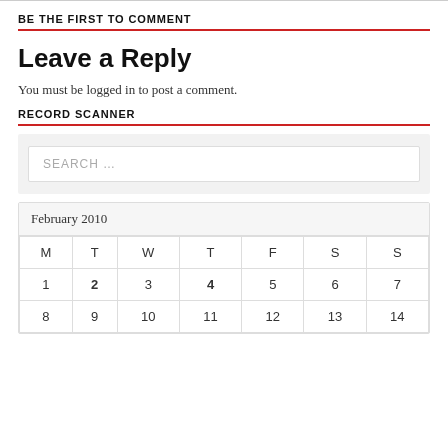BE THE FIRST TO COMMENT
Leave a Reply
You must be logged in to post a comment.
RECORD SCANNER
[Figure (other): Search input box with placeholder text SEARCH ...]
| M | T | W | T | F | S | S |
| --- | --- | --- | --- | --- | --- | --- |
| 1 | 2 | 3 | 4 | 5 | 6 | 7 |
| 8 | 9 | 10 | 11 | 12 | 13 | 14 |